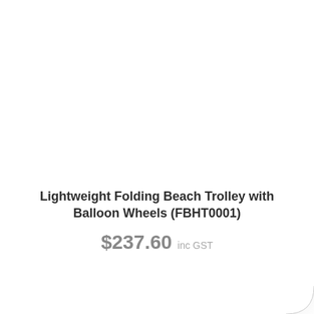Lightweight Folding Beach Trolley with Balloon Wheels (FBHT0001)
$237.60 inc GST